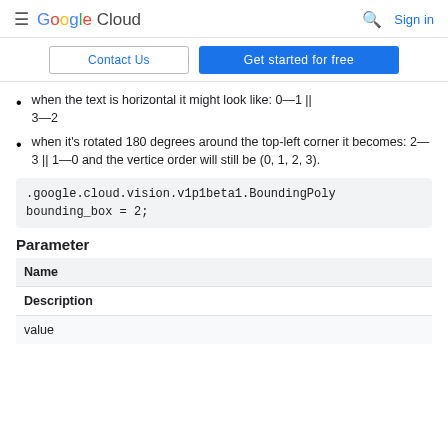≡ Google Cloud | 🔍 Sign in
Contact Us | Get started for free
when the text is horizontal it might look like: 0—1 || 3—2
when it's rotated 180 degrees around the top-left corner it becomes: 2—3 || 1—0 and the vertice order will still be (0, 1, 2, 3).
.google.cloud.vision.v1p1beta1.BoundingPoly bounding_box = 2;
Parameter
| Name | Description |
| --- | --- |
| value |  |